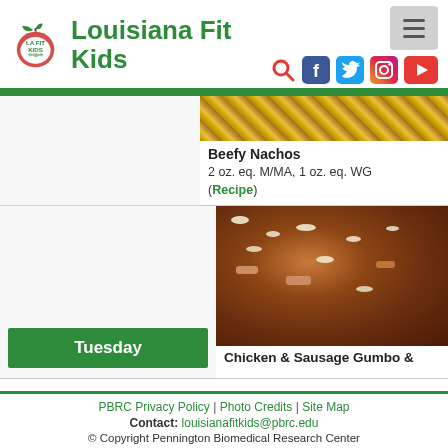Louisiana Fit Kids
[Figure (photo): Food photo showing Beefy Nachos with chips visible at top]
Beefy Nachos
2 oz. eq. M/MA, 1 oz. eq. WG (Recipe)
[Figure (photo): Food photo showing Chicken & Sausage Gumbo with rice]
Tuesday
Chicken & Sausage Gumbo &
PBRC Privacy Policy | Photo Credits | Site Map
Contact: louisianafitkids@pbrc.edu
© Copyright Pennington Biomedical Research Center